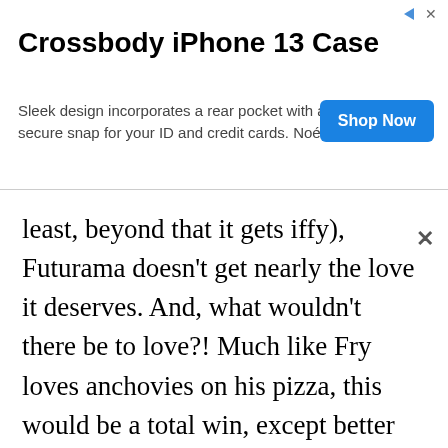[Figure (screenshot): Advertisement banner for Crossbody iPhone 13 Case by Noemie. Shows product title, description text, and a blue 'Shop Now' button. Has close (X) and info arrow icons.]
least, beyond that it gets iffy), Futurama doesn't get nearly the love it deserves. And, what wouldn't there be to love?! Much like Fry loves anchovies on his pizza, this would be a total win, except better because anchovies dude. Hard pass.

Give me Bender, give me Zoidberg, give me the Professor, and the rest of the Planet Express gang. Kif and Zapp Brannigan. Calculon and Robot Santa too, I'll take them all.